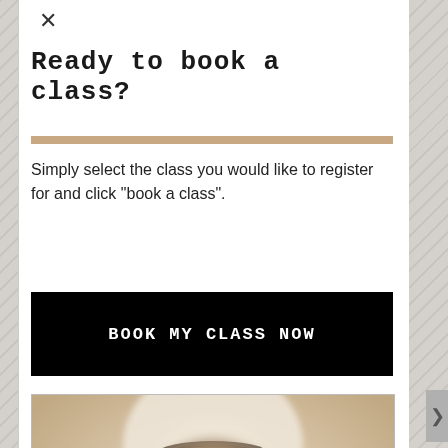×
Ready to book a class?
Simply select the class you would like to register for and click "book a class".
BOOK MY CLASS NOW
[Figure (photo): Sepia-toned vintage-style photograph of a person with curly/wavy hair, viewed from above or at an angle, wearing dark clothing. The image has a soft, blurred aesthetic with warm sepia tones.]